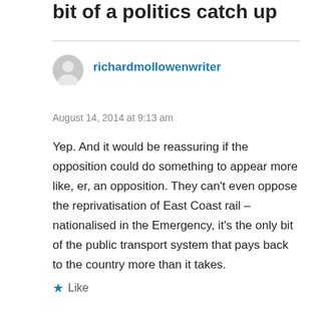bit of a politics catch up
richardmollowenwriter
August 14, 2014 at 9:13 am
Yep. And it would be reassuring if the opposition could do something to appear more like, er, an opposition. They can't even oppose the reprivatisation of East Coast rail – nationalised in the Emergency, it's the only bit of the public transport system that pays back to the country more than it takes.
Like
Reply